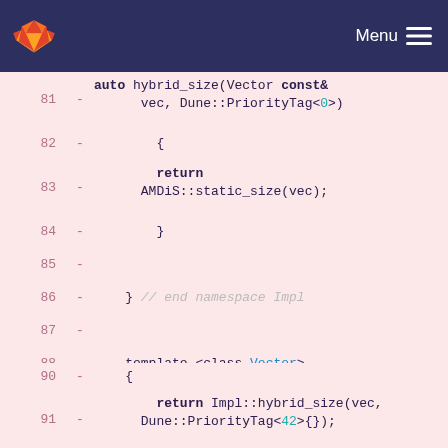GitLab · Menu
[Figure (screenshot): Code diff viewer showing lines 81-95 of a C++ source file with removed lines (marked with -) on a pink background. Lines show template functions hybrid_size and hybridElements using Dune::PriorityTag and AMDiS::static_size.]